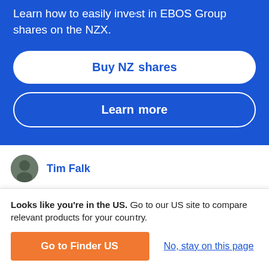Learn how to easily invest in EBOS Group shares on the NZX.
Buy NZ shares
Learn more
Tim Falk
Fact checked
EBOS Group markets, wholesales and distributes a wide
Looks like you're in the US. Go to our US site to compare relevant products for your country.
Go to Finder US
No, stay on this page